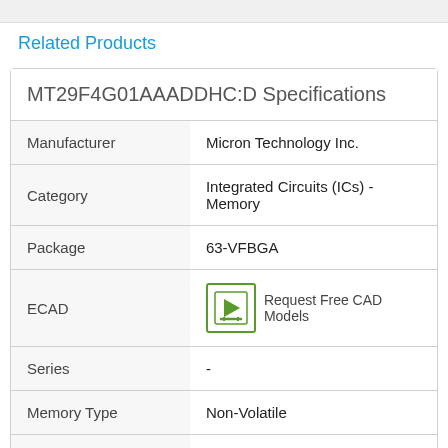Related Products
MT29F4G01AAADDHC:D Specifications
|  |  |
| --- | --- |
| Manufacturer | Micron Technology Inc. |
| Category | Integrated Circuits (ICs) - Memory |
| Package | 63-VFBGA |
| ECAD | Request Free CAD Models |
| Series | - |
| Memory Type | Non-Volatile |
| Memory Format | FLASH |
| Technology | FLASH - NAND |
| Memory Size | 4Gb (4G x 1) |